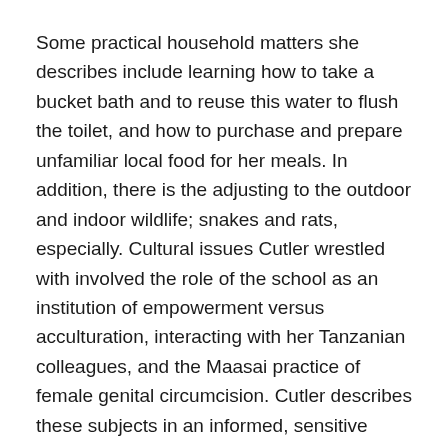Some practical household matters she describes include learning how to take a bucket bath and to reuse this water to flush the toilet, and how to purchase and prepare unfamiliar local food for her meals. In addition, there is the adjusting to the outdoor and indoor wildlife; snakes and rats, especially. Cultural issues Cutler wrestled with involved the role of the school as an institution of empowerment versus acculturation, interacting with her Tanzanian colleagues, and the Maasai practice of female genital circumcision. Cutler describes these subjects in an informed, sensitive manner, aware of her privileged, economic, outsider status. This is demonstrated in her thoughts about a visitor's complaint at a Tanzanian national park:
I'm sorry ma'am, that you don't like anything on the breakfast buffet, but did you know that just outside the boundaries of this national park, there are children who